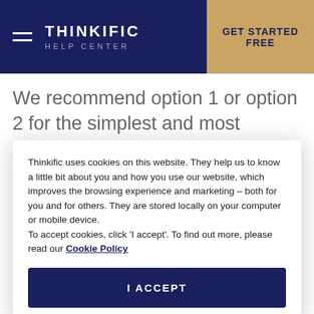THINKIFIC HELP CENTER | GET STARTED FREE
We recommend option 1 or option 2 for the simplest and most efficient solution to
Thinkific uses cookies on this website. They help us to know a little bit about you and how you use our website, which improves the browsing experience and marketing – both for you and for others. They are stored locally on your computer or mobile device.
To accept cookies, click 'I accept'. To find out more, please read our Cookie Policy
I ACCEPT
be very helpful for managing students and measuring progress by Group. If you plan on